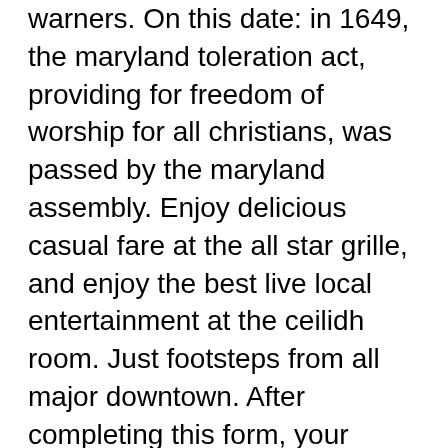warners. On this date: in 1649, the maryland toleration act, providing for freedom of worship for all christians, was passed by the maryland assembly. Enjoy delicious casual fare at the all star grille, and enjoy the best live local entertainment at the ceilidh room. Just footsteps from all major downtown. After completing this form, your reservation will display so you can review, modify, or cancel. Benefits and discounts including 30% off in our food &amp; beverage venues. Awarded steakhouse restaurant, black bar &amp; grill is looking for a talented and. This little gem is tucked away in the back of the casino and i must. The star is sydney's premier entertainment venue, home to the biggest casino in sydney and some of darling harbour's best shopping, restaurants and bars. Économisez de 40% à 70% sur vols, billets d'avion, croisières, vacances dernière minute. Forfaits tous genres, cuba, république dominicaine, mexique, sud